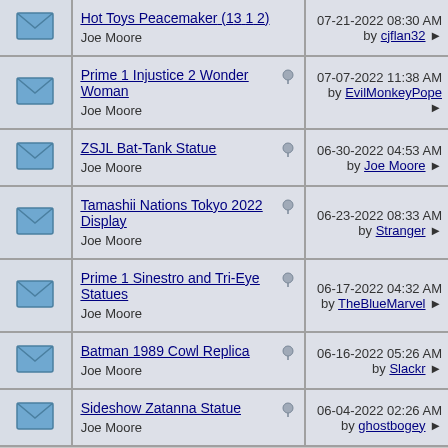Hot Toys Peacemaker | Joe Moore | 07-21-2022 08:30 AM by cjflan32
Prime 1 Injustice 2 Wonder Woman | Joe Moore | 07-07-2022 11:38 AM by EvilMonkeyPope
ZSJL Bat-Tank Statue | Joe Moore | 06-30-2022 04:53 AM by Joe Moore
Tamashii Nations Tokyo 2022 Display | Joe Moore | 06-23-2022 08:33 AM by Stranger
Prime 1 Sinestro and Tri-Eye Statues | Joe Moore | 06-17-2022 04:32 AM by TheBlueMarvel
Batman 1989 Cowl Replica | Joe Moore | 06-16-2022 05:26 AM by Slackr
Sideshow Zatanna Statue | Joe Moore | 06-04-2022 02:26 AM by ghostbogey